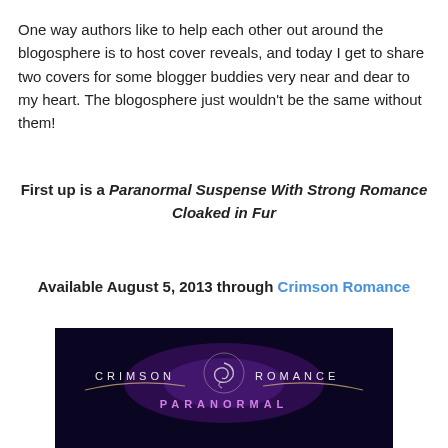One way authors like to help each other out around the blogosphere is to host cover reveals, and today I get to share two covers for some blogger buddies very near and dear to my heart. The blogosphere just wouldn't be the same without them!
First up is a Paranormal Suspense With Strong Romance Cloaked in Fur
Available August 5, 2013 through Crimson Romance
[Figure (logo): Crimson Romance Paranormal logo on dark background with swirl emblem]